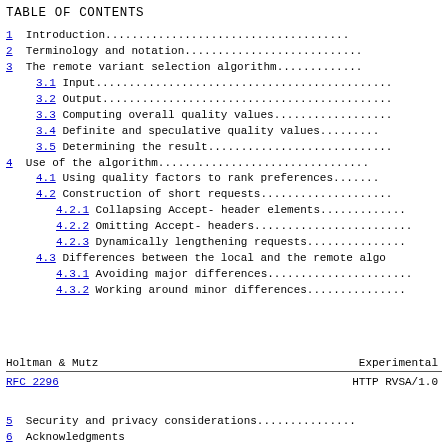TABLE OF CONTENTS
1  Introduction.......................................
2  Terminology and notation...........................
3  The remote variant selection algorithm.............
3.1 Input.............................................
3.2 Output............................................
3.3 Computing overall quality values..................
3.4 Definite and speculative quality values...........
3.5 Determining the result............................
4  Use of the algorithm...............................
4.1 Using quality factors to rank preferences.........
4.2 Construction of short requests....................
4.2.1 Collapsing Accept- header elements..............
4.2.2 Omitting Accept- headers........................
4.2.3 Dynamically lengthening requests................
4.3 Differences between the local and the remote algo
4.3.1 Avoiding major differences......................
4.3.2 Working around minor differences................
Holtman & Mutz    Experimental
RFC 2296    HTTP RVSA/1.0
5  Security and privacy considerations................
6  Acknowledgments